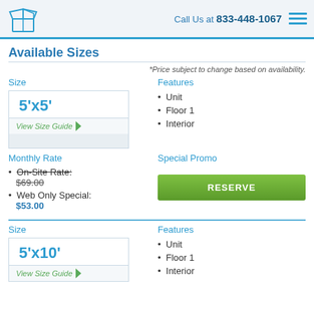Call Us at 833-448-1067
Available Sizes
*Price subject to change based on availability.
Size
5'x5'
View Size Guide
Features
Unit
Floor 1
Interior
Monthly Rate
On-Site Rate: $69.00
Web Only Special: $53.00
Special Promo
RESERVE
Size
5'x10'
View Size Guide
Features
Unit
Floor 1
Interior